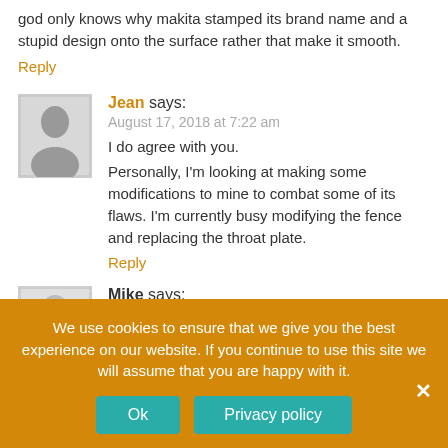god only knows why makita stamped its brand name and a stupid design onto the surface rather that make it smooth.
Reply
Jean says:
August 17, 2018 at 7:22 am
I do agree with you.
Personally, I'm looking at making some modifications to mine to combat some of its flaws. I'm currently busy modifying the fence and replacing the throat plate.
Reply
Mike says:
October 30, 2018 at 10:00
We use cookies to ensure that we give you the best experience on our website. If you continue to use this site we will assume that you are happy with it.